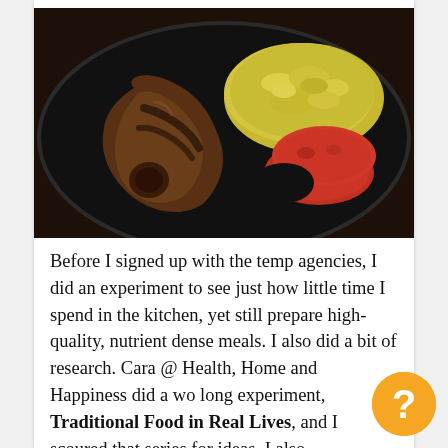[Figure (photo): Overhead photo of a black plate with grilled meat (pork chop), yellow rice or scrambled eggs, and sliced tomatoes on a dark wooden surface.]
Before I signed up with the temp agencies, I did an experiment to see just how little time I spend in the kitchen, yet still prepare high-quality, nutrient dense meals. I also did a bit of research. Cara @ Health, Home and Happiness did a wo long experiment, Traditional Food in Real Lives, and I scoured that series for ideas. I also